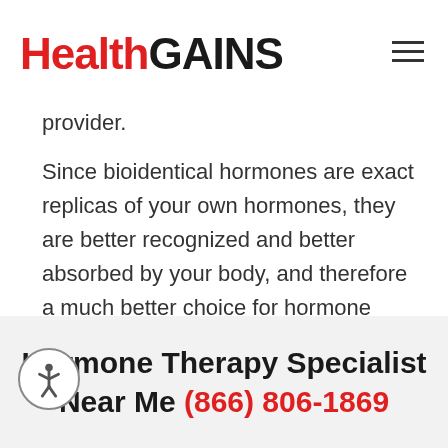HealthGAINS
provider.
Since bioidentical hormones are exact replicas of your own hormones, they are better recognized and better absorbed by your body, and therefore a much better choice for hormone replacement therapy (HRT). If you are in need of HRT, bioidentical hormone therapy should be your first choice!
Hormone Therapy Specialist Near Me (866) 806-1869